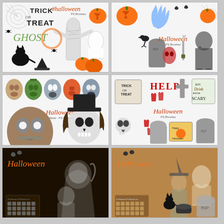[Figure (illustration): Halloween PS Brushes set 1: Trick or Treat text, ghost text, mummy, ghost figure, jack-o-lanterns, black cat, witch hat, spiders, spider web, bats on white background]
[Figure (illustration): Halloween PS Brushes set 2: jack-o-lantern, bats, bloody hand, spider, jack-o-lantern, crow, gravestone, mask, knife, Halloween text, grim reaper figure on white background]
[Figure (illustration): Halloween Mask PS Brushes: six horror masks including zombie, Frankenstein, ghost face, hockey mask, plus large zombie and skull/pirate figures on white background]
[Figure (illustration): Halloween PS Brushes set 4: Trick or Treat sign, HELP bloody text, cross tombstone, Eat Drink Scary sign, skulls, bloody handprints, Happy Halloween poster, tombstones on white background]
[Figure (illustration): Halloween PS Brushes dark set: glowing Halloween text, bats, large grim reaper/ghost figure, small brush icons on black background]
[Figure (illustration): Halloween PS Brushes tan set: Halloween text, bats, witch figure, ghost figure, black cat, cauldron, RIP tombstone, small brush icons on brown/tan background]